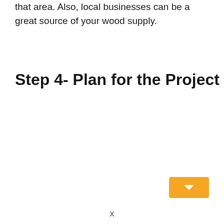that area. Also, local businesses can be a great source of your wood supply.
Step 4- Plan for the Project
[Figure (other): Orange/yellow navigation button with a downward pointing arrow, positioned in the bottom-right corner]
x